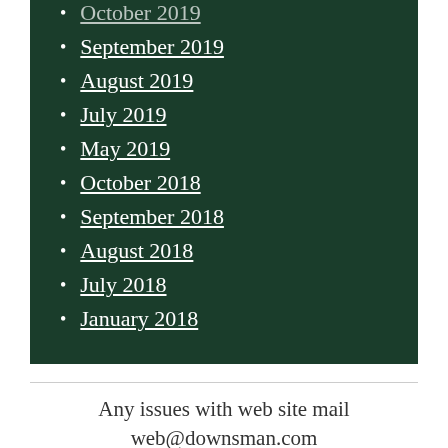October 2019
September 2019
August 2019
July 2019
May 2019
October 2018
September 2018
August 2018
July 2018
January 2018
Any issues with web site mail web@downsman.com
Blog at WordPress.com.